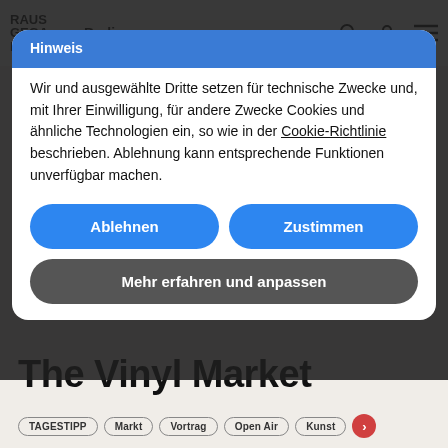RAUSGEGANGEN | Berlin | Navigation
Hinweis
Wir und ausgewählte Dritte setzen für technische Zwecke und, mit Ihrer Einwilligung, für andere Zwecke Cookies und ähnliche Technologien ein, so wie in der Cookie-Richtlinie beschrieben. Ablehnung kann entsprechende Funktionen unverfügbar machen.
Ablehnen
Zustimmen
Mehr erfahren und anpassen
The Vinyl Market
TAGESTIPP  Markt  Vortrag  Open Air  Kunst